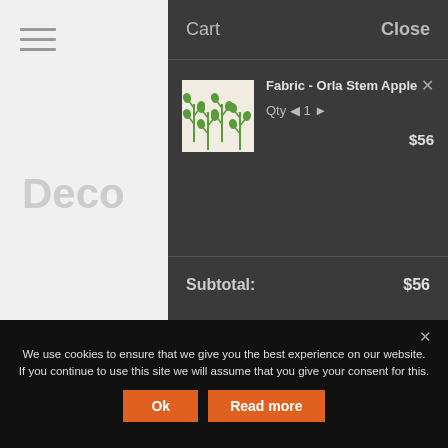[Figure (screenshot): Shopping cart overlay panel on a dark background showing a cart with one item 'Fabric - Orla Stem Apple', quantity 1, price $56, subtotal $56, with a cookie consent banner at the bottom.]
Cart
Close
Fabric - Orla Stem Apple
Qty ◄ 1 ► $56
Subtotal: $56
We use cookies to ensure that we give you the best experience on our website. If you continue to use this site we will assume that you give your consent for this.
Ok
Read more